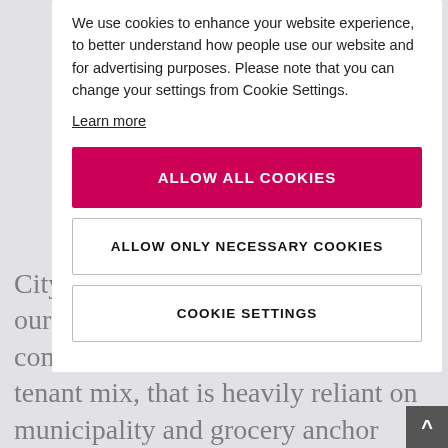We use cookies to enhance your website experience, to better understand how people use our website and for advertising purposes. Please note that you can change your settings from Cookie Settings.
Learn more
ALLOW ALL COOKIES
ALLOW ONLY NECESSARY COOKIES
COOKIE SETTINGS
Citycon operates within as well as our strategy that focuses on community based urban hubs. Our tenant mix, that is heavily reliant on municipality and grocery anchor